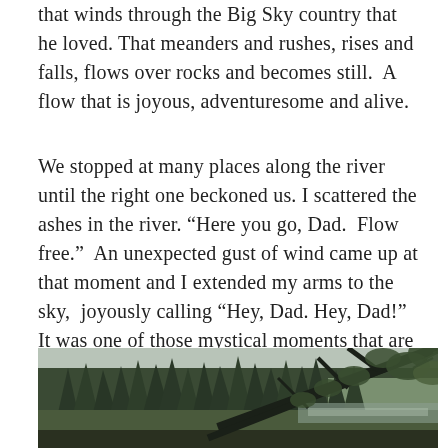that winds through the Big Sky country that he loved. That meanders and rushes, rises and falls, flows over rocks and becomes still.  A flow that is joyous, adventuresome and alive.
We stopped at many places along the river until the right one beckoned us. I scattered the ashes in the river. “Here you go, Dad.  Flow free.”  An unexpected gust of wind came up at that moment and I extended my arms to the sky,  joyously calling “Hey, Dad. Hey, Dad!” It was one of those mystical moments that are a gift.
[Figure (photo): Outdoor nature photo showing a river scene with dense pine and conifer trees in the background, a large overhanging tree branch with pine needles in the foreground right, and sky visible above. The scene is muted, overcast greens and grays.]